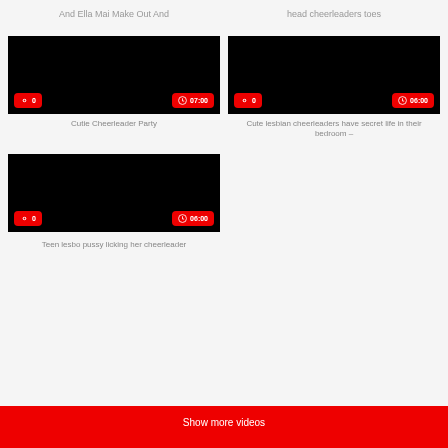And Ella Mai Make Out And
head cheerleaders toes
[Figure (other): Black video thumbnail with view count badge '0' and duration badge '07:00']
Cutie Cheerleader Party
[Figure (other): Black video thumbnail with view count badge '0' and duration badge '06:00']
Cute lesbian cheerleaders have secret life in their bedroom –
[Figure (other): Black video thumbnail with view count badge '0' and duration badge '06:00']
Teen lesbo pussy licking her cheerleader
Show more videos